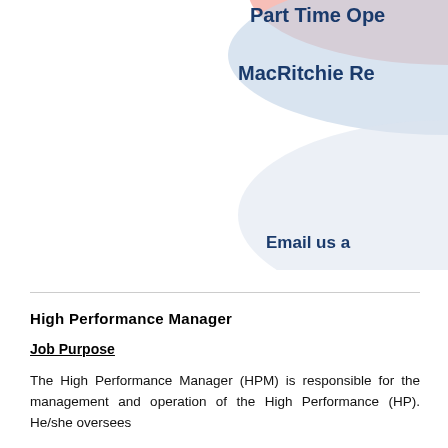[Figure (illustration): Decorative banner with pink/salmon arc, navy blue arc, and light gray arc shapes on the right side of the page, with partial text 'Part Time Ope', 'MacRitchie Re', and 'Email us a' visible — these are cropped banner elements from a job posting document.]
High Performance Manager
Job Purpose
The High Performance Manager (HPM) is responsible for the management and operation of the High Performance (HP). He/she oversees